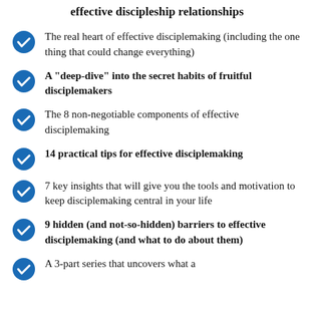effective discipleship relationships
The real heart of effective disciplemaking (including the one thing that could change everything)
A "deep-dive" into the secret habits of fruitful disciplemakers
The 8 non-negotiable components of effective disciplemaking
14 practical tips for effective disciplemaking
7 key insights that will give you the tools and motivation to keep disciplemaking central in your life
9 hidden (and not-so-hidden) barriers to effective disciplemaking (and what to do about them)
A 3-part series that uncovers what a